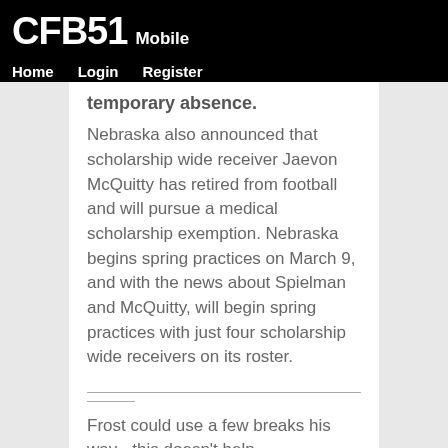CFB51 Mobile | Home | Login | Register
temporary absence.
Nebraska also announced that scholarship wide receiver Jaevon McQuitty has retired from football and will pursue a medical scholarship exemption. Nebraska begins spring practices on March 9, and with the news about Spielman and McQuitty, will begin spring practices with just four scholarship wide receivers on its roster.
Frost could use a few breaks his way - this doesn't help